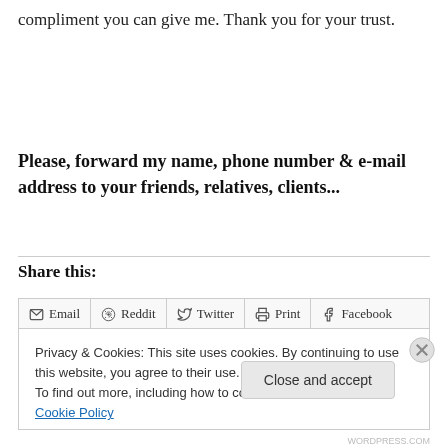compliment you can give me. Thank you for your trust.
Please, forward my name, phone number & e-mail address to your friends, relatives, clients...
Share this:
Email  Reddit  Twitter  Print  Facebook
Privacy & Cookies: This site uses cookies. By continuing to use this website, you agree to their use.
To find out more, including how to control cookies, see here: Cookie Policy
Close and accept